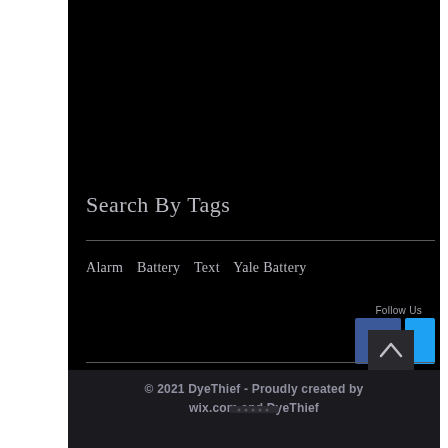Search By Tags
Alarm   Battery   Text   Yale Battery
Follow Us
[Figure (logo): Facebook icon square blue button with white f letter]
[Figure (logo): Twitter/social icon partial blue button]
[Figure (other): Scroll to top arrow button, dark background with upward chevron]
© 2021 DyeThief - Proudly created by wix.com and DyeThief